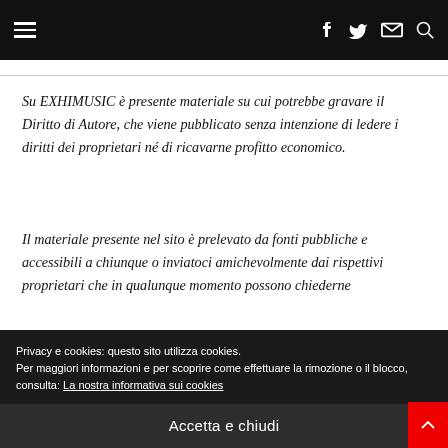≡  f  🐦  ✉  🔍
Su EXHIMUSIC è presente materiale su cui potrebbe gravare il Diritto di Autore, che viene pubblicato senza intenzione di ledere i diritti dei proprietari né di ricavarne profitto economico.
Il materiale presente nel sito è prelevato da fonti pubbliche e accessibili a chiunque o inviatoci amichevolmente dai rispettivi proprietari che in qualunque momento possono chiederne
Privacy e cookies: questo sito utilizza cookies.
Per maggiori informazioni e per scoprire come effettuare la rimozione o il blocco, consulta: La nostra informativa sui cookies
Accetta e chiudi